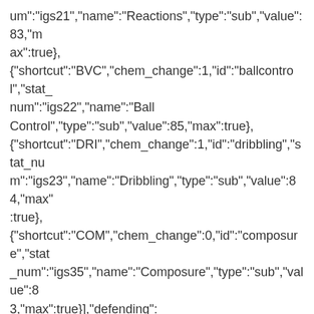um":"igs21","name":"Reactions","type":"sub","value":83,"max":true},
{"shortcut":"BVC","chem_change":1,"id":"ballcontrol","stat_num":"igs22","name":"Ball Control","type":"sub","value":85,"max":true},
{"shortcut":"DRI","chem_change":1,"id":"dribbling","stat_num":"igs23","name":"Dribbling","type":"sub","value":84,"max":true},
{"shortcut":"COM","chem_change":0,"id":"composure","stat_num":"igs35","name":"Composure","type":"sub","value":83,"max":true}],"defending":
[{"shortcut":"DEF","gk_shortcut":"SPE","chem_change":1,"id":"defending","stat_num":"igs24","name":"Defending","gk_stat_name":"Speed","type":"main","value":31,"max":true},
{"shortcut":"INT","chem_change":1,"id":"interceptions","stat_num":"igs25","name":"Interceptions","type":"sub","value":